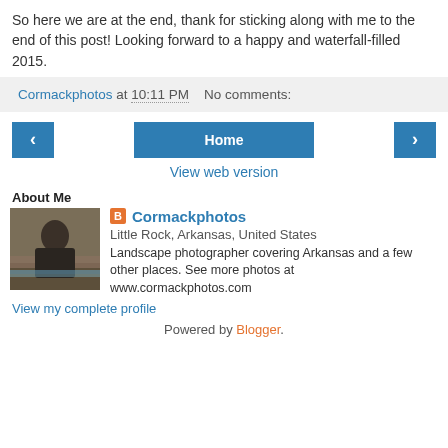So here we are at the end, thank for sticking along with me to the end of this post! Looking forward to a happy and waterfall-filled 2015.
Cormackphotos at 10:11 PM   No comments:
‹  Home  ›
View web version
About Me
Cormackphotos
Little Rock, Arkansas, United States
Landscape photographer covering Arkansas and a few other places. See more photos at www.cormackphotos.com
View my complete profile
Powered by Blogger.